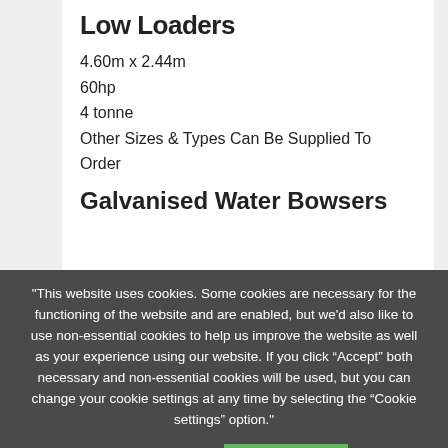Low Loaders
4.60m x 2.44m
60hp
4 tonne
Other Sizes & Types Can Be Supplied To Order
Galvanised Water Bowsers
"This website uses cookies. Some cookies are necessary for the functioning of the website and are enabled, but we'd also like to use non-essential cookies to help us improve the website as well as your experience using our website. If you click “Accept” both necessary and non-essential cookies will be used, but you can change your cookie settings at any time by selecting the “Cookie settings” option."